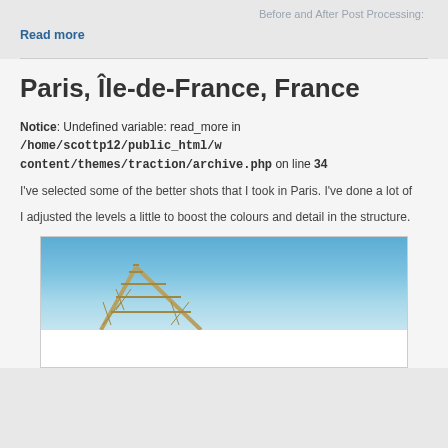Before and After Post Processing:
Read more
Paris, Île-de-France, France
Notice: Undefined variable: read_more in /home/scottp12/public_html/w content/themes/traction/archive.php on line 34
I've selected some of the better shots that I took in Paris. I've done a lot of
I adjusted the levels a little to boost the colours and detail in the structure.
[Figure (photo): A photo showing what appears to be the Eiffel Tower structure from below against a blue sky, partially visible at the bottom of the page.]